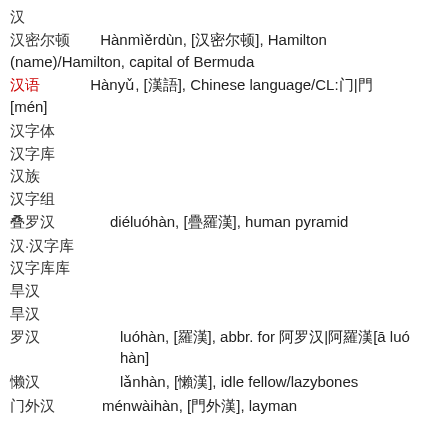汉
汉密尔顿   Hànmìěrdùn, [汉密尔顿], Hamilton (name)/Hamilton, capital of Bermuda
汉语   Hànyǔ, [漢語], Chinese language/CL:门|門[mén]
汉字体
汉字库
汉族
汉字组
叠罗汉   diéluóhàn, [疊羅漢], human pyramid
汉·汉字库
汉字库库
旱汉
旱汉
罗汉   luóhàn, [羅漢], abbr. for 阿罗汉|阿羅漢[ā luó hàn]
懒汉   lǎnhàn, [懶漢], idle fellow/lazybones
门外汉   ménwàihàn, [門外漢], layman